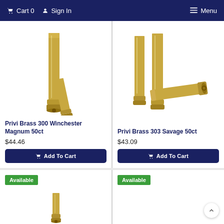Cart 0  Sign In  Menu
[Figure (photo): Brass rifle cartridge cases - Privi Brass 300 Winchester Magnum 50ct]
Privi Brass 300 Winchester Magnum 50ct
$44.46
Add To Cart
[Figure (photo): Brass rifle cartridge cases - Privi Brass 303 Savage 50ct]
Privi Brass 303 Savage 50ct
$43.09
Add To Cart
Available
Available